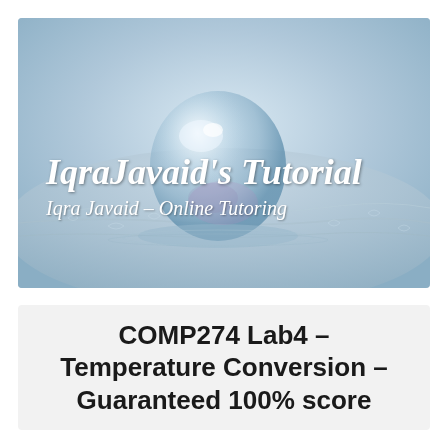[Figure (illustration): Banner image with a close-up of a water droplet on a frosted/icy surface with a light blue color scheme. Overlaid text reads 'IqraJavaid's Tutorial' and 'Iqra Javaid – Online Tutoring' in white italic font.]
COMP274 Lab4 – Temperature Conversion – Guaranteed 100% score